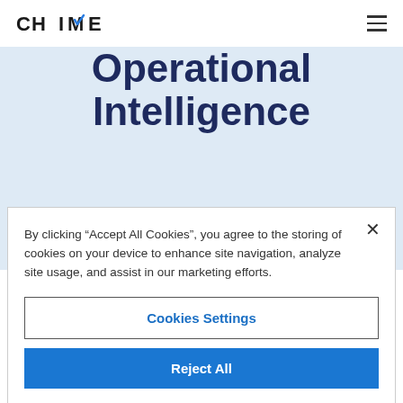[Figure (logo): CHIME logo with stylized checkmark in the letter M]
Operational Intelligence
By clicking “Accept All Cookies”, you agree to the storing of cookies on your device to enhance site navigation, analyze site usage, and assist in our marketing efforts.
Cookies Settings
Reject All